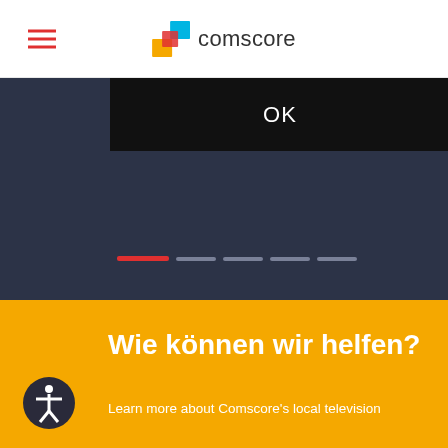comscore
[Figure (screenshot): Comscore website screenshot showing dark navy section with black OK button, progress indicator bars, yellow section with German text 'Wie können wir helfen?' and accessibility icon]
OK
Wie können wir helfen?
Learn more about Comscore's local television